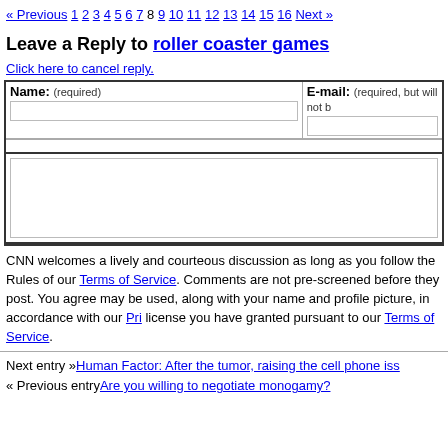« Previous 1 2 3 4 5 6 7 8 9 10 11 12 13 14 15 16 Next »
Leave a Reply to roller coaster games
Click here to cancel reply.
| Name: (required) | E-mail: (required, but will not be published) |
| --- | --- |
|  |
CNN welcomes a lively and courteous discussion as long as you follow the Rules of Conduct set forth in our Terms of Service. Comments are not pre-screened before they post. You agree that anything you post may be used, along with your name and profile picture, in accordance with our Privacy Policy and the license you have granted pursuant to our Terms of Service.
Next entry »Human Factor: After the tumor, raising the cell phone issue
« Previous entryAre you willing to negotiate monogamy?